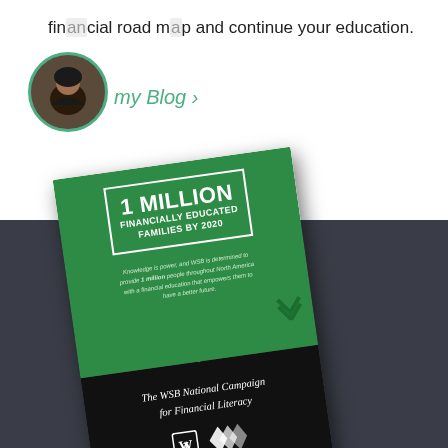financial road map and continue your education.
[Figure (photo): Circular avatar photo of a woman with curly hair, bordered in green]
my Blog >
[Figure (infographic): WSB National Campaign for Financial Literacy brochure showing '1 MILLION FINANCIALLY EDUCATED FAMILIES BY 2020' on a green and black card, tilted at an angle]